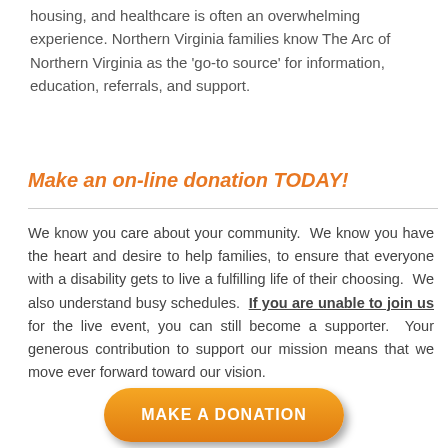housing, and healthcare is often an overwhelming experience. Northern Virginia families know The Arc of Northern Virginia as the 'go-to source' for information, education, referrals, and support.
Make an on-line donation TODAY!
We know you care about your community.  We know you have the heart and desire to help families, to ensure that everyone with a disability gets to live a fulfilling life of their choosing.  We also understand busy schedules.  If you are unable to join us for the live event, you can still become a supporter.  Your generous contribution to support our mission means that we move ever forward toward our vision.
[Figure (other): Orange rounded rectangle button with white uppercase text reading MAKE A DONATION]